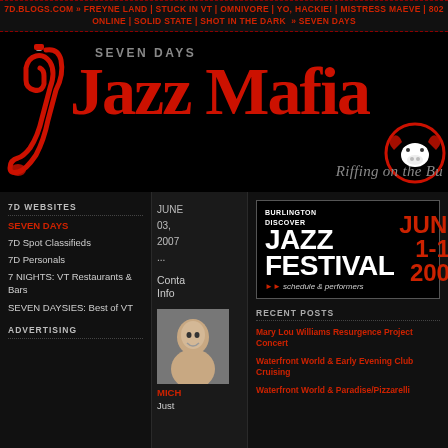7D.BLOGS.COM » FREYNE LAND | STUCK IN VT | OMNIVORE | YO, HACKIE! | MISTRESS MAEVE | 802 ONLINE | SOLID STATE | SHOT IN THE DARK » SEVEN DAYS
SEVEN DAYS Jazz Mafia
Riffing on the Bu
7D WEBSITES
SEVEN DAYS
7D Spot Classifieds
7D Personals
7 NIGHTS: VT Restaurants & Bars
SEVEN DAYSIES: Best of VT
ADVERTISING
JUNE 03, 2007 ...
Contact Info
[Figure (photo): Photo of person labeled MICH]
MICH
Just
[Figure (other): Burlington Discover Jazz Festival banner — JUNE 1-10 2007 schedule & performers]
RECENT POSTS
Mary Lou Williams Resurgence Project Concert
Waterfront World & Early Evening Club Cruising
Waterfront World & Paradise/Pizzarelli